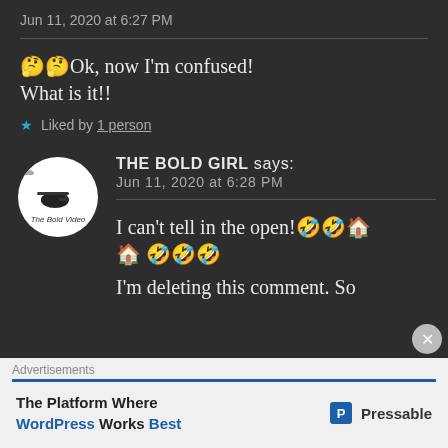Jun 11, 2020 at 6:27 PM
🤔🤔Ok, now I'm confused! What is it!!
★ Liked by 1 person
THE BOLD GIRL says: Jun 11, 2020 at 6:28 PM
I can't tell in the open!🤣🤣🏠🏠 🤣🤣🤣
I'm deleting this comment. So
Advertisements
The Platform Where WordPress Works Best — Pressable